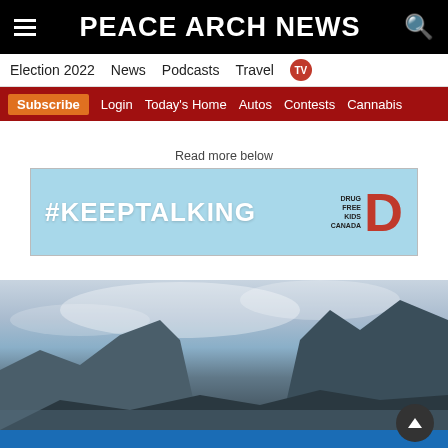PEACE ARCH NEWS
Election 2022  News  Podcasts  Travel  TV
Subscribe  Login  Today's Home  Autos  Contests  Cannabis
Read more below
[Figure (infographic): #KEEPTALKING Drug Free Kids Canada advertisement banner with light blue background]
[Figure (photo): Mountain landscape with cloudy sky, dark mountain silhouettes]
[Figure (infographic): DEFEND OUR PUBLIC SERVICES bcgeu blue advertisement banner]